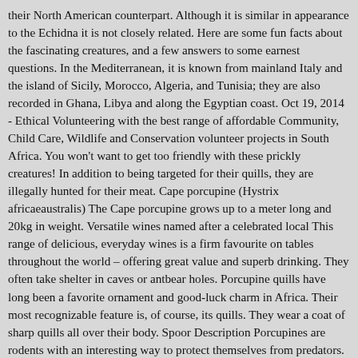their North American counterpart. Although it is similar in appearance to the Echidna it is not closely related. Here are some fun facts about the fascinating creatures, and a few answers to some earnest questions. In the Mediterranean, it is known from mainland Italy and the island of Sicily, Morocco, Algeria, and Tunisia; they are also recorded in Ghana, Libya and along the Egyptian coast. Oct 19, 2014 - Ethical Volunteering with the best range of affordable Community, Child Care, Wildlife and Conservation volunteer projects in South Africa. You won't want to get too friendly with these prickly creatures! In addition to being targeted for their quills, they are illegally hunted for their meat. Cape porcupine (Hystrix africaeaustralis) The Cape porcupine grows up to a meter long and 20kg in weight. Versatile wines named after a celebrated local This range of delicious, everyday wines is a firm favourite on tables throughout the world – offering great value and superb drinking. They often take shelter in caves or antbear holes. Porcupine quills have long been a favorite ornament and good-luck charm in Africa. Their most recognizable feature is, of course, its quills. They wear a coat of sharp quills all over their body. Spoor Description Porcupines are rodents with an interesting way to protect themselves from predators. Postal: Blue Sky Publications (Pty) Ltd T/A TheSouthAfrican, PO Box 44354, Claremont, 7735, South Africa, United Kingdom: Blue Sky Publications Ltd, Company Registration...